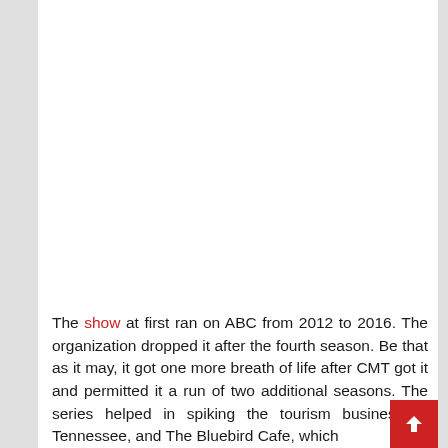[Figure (other): Large blank/white image placeholder area occupying the upper portion of the page]
The show at first ran on ABC from 2012 to 2016. The organization dropped it after the fourth season. Be that as it may, it got one more breath of life after CMT got it and permitted it a run of two additional seasons. The series helped in spiking the tourism business of Tennessee, and The Bluebird Cafe, which